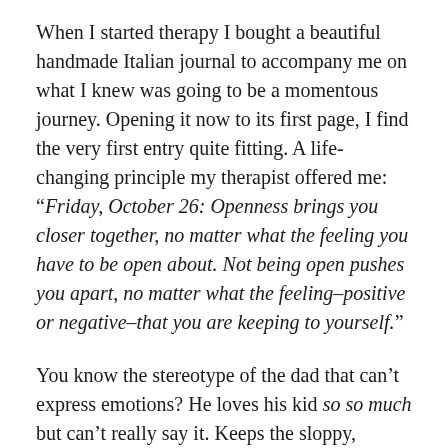When I started therapy I bought a beautiful handmade Italian journal to accompany me on what I knew was going to be a momentous journey. Opening it now to its first page, I find the very first entry quite fitting. A life-changing principle my therapist offered me: “Friday, October 26: Openness brings you closer together, no matter what the feeling you have to be open about. Not being open pushes you apart, no matter what the feeling–positive or negative–that you are keeping to yourself.”
You know the stereotype of the dad that can’t express emotions? He loves his kid so so much but can’t really say it. Keeps the sloppy,